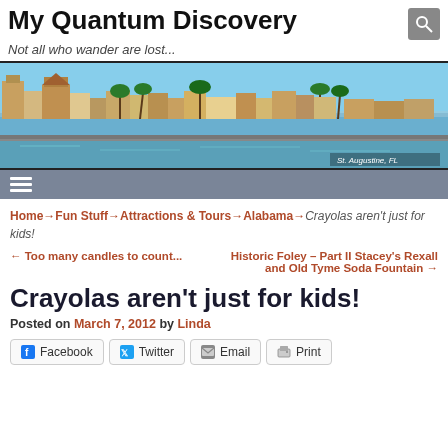My Quantum Discovery
Not all who wander are lost...
[Figure (photo): Panoramic photo of St. Augustine, FL waterfront with historic buildings, palm trees, and seawall along the water. Caption: St. Augustine, FL]
Home → Fun Stuff → Attractions & Tours → Alabama → Crayolas aren't just for kids!
← Too many candles to count...   Historic Foley – Part II Stacey's Rexall and Old Tyme Soda Fountain →
Crayolas aren't just for kids!
Posted on March 7, 2012 by Linda
Facebook  Twitter  Email  Print